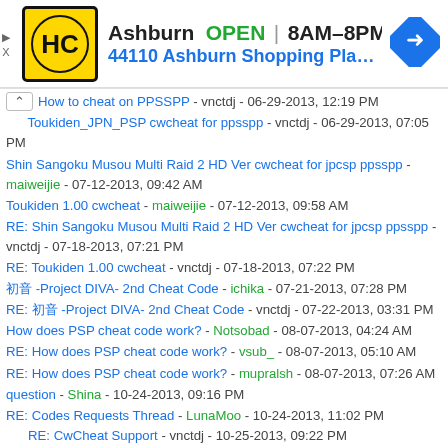[Figure (advertisement): HC Hardware store ad banner: yellow/black HC logo, Ashburn OPEN 8AM-8PM, 44110 Ashburn Shopping Plaza 1., navigation arrow icon]
How to cheat on PPSSPP - vnctdj - 06-29-2013, 12:19 PM
Toukiden_JPN_PSP cwcheat for ppsspp - vnctdj - 06-29-2013, 07:05 PM
Shin Sangoku Musou Multi Raid 2 HD Ver cwcheat for jpcsp ppsspp - maiweijie - 07-12-2013, 09:42 AM
Toukiden 1.00 cwcheat - maiweijie - 07-12-2013, 09:58 AM
RE: Shin Sangoku Musou Multi Raid 2 HD Ver cwcheat for jpcsp ppsspp - vnctdj - 07-18-2013, 07:21 PM
RE: Toukiden 1.00 cwcheat - vnctdj - 07-18-2013, 07:22 PM
初音 -Project DIVA- 2nd Cheat Code - ichika - 07-21-2013, 07:28 PM
RE: 初音 -Project DIVA- 2nd Cheat Code - vnctdj - 07-22-2013, 03:31 PM
How does PSP cheat code work? - Notsobad - 08-07-2013, 04:24 AM
RE: How does PSP cheat code work? - vsub_ - 08-07-2013, 05:10 AM
RE: How does PSP cheat code work? - mupralsh - 08-07-2013, 07:26 AM
question - Shina - 10-24-2013, 09:16 PM
RE: Codes Requests Thread - LunaMoo - 10-24-2013, 11:02 PM
RE: CwCheat Support - vnctdj - 10-25-2013, 09:22 PM
Cwcheat Help - lllccc - 10-29-2013, 07:20 PM
RE: CwCheat Support - vnctdj - 10-29-2013, 07:54 PM
New Cwcheat problem! - Malik6969 - 10-29-2013, 09:45 PM